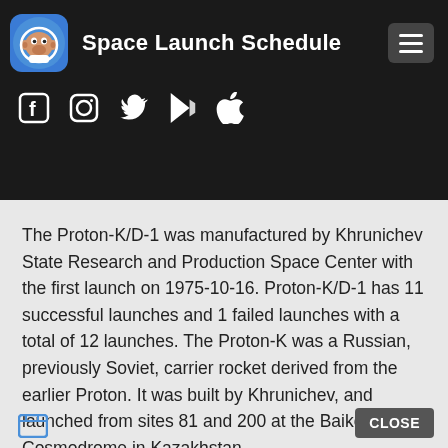Space Launch Schedule
[Figure (screenshot): App header with logo (astronaut monkey), title 'Space Launch Schedule', hamburger menu button, and social media icons (Facebook, Instagram, Twitter, Google Play, Apple)]
The Proton-K/D-1 was manufactured by Khrunichev State Research and Production Space Center with the first launch on 1975-10-16. Proton-K/D-1 has 11 successful launches and 1 failed launches with a total of 12 launches. The Proton-K was a Russian, previously Soviet, carrier rocket derived from the earlier Proton. It was built by Khrunichev, and launched from sites 81 and 200 at the Baikonur Cosmodrome in Kazakhstan.